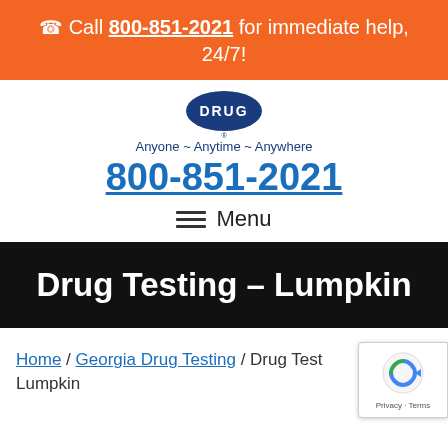☎ Call 800-851-2021 for immediate help, 24/7!
[Figure (logo): Drug testing company logo with blue oval shape and text 'DRUG', with registered trademark symbol]
Anyone ~ Anytime ~ Anywhere
800-851-2021
≡ Menu
Drug Testing – Lumpkin
Home / Georgia Drug Testing / Drug Test... Lumpkin